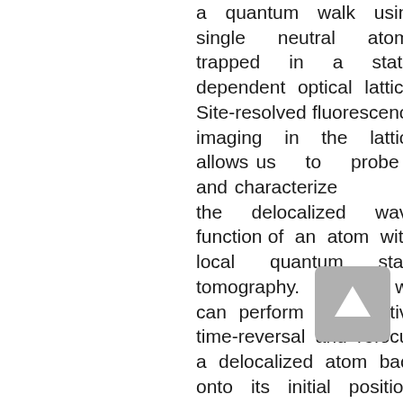a quantum walk using single neutral atoms trapped in a state-dependent optical lattice. Site-resolved fluorescence imaging in the lattice allows us to probe and characterize the delocalized wave function of an atom with local quantum state tomography. Further, we can perform an effective time-reversal and refocus a delocalized atom back onto its initial position. This reflects the highly coherent and deterministic nature of the quantum walk. In contrast, by destroying the coherence after each time step, we